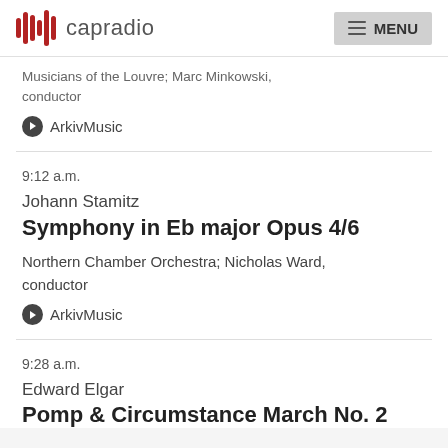capradio  MENU
Musicians of the Louvre; Marc Minkowski, conductor
ArkivMusic
9:12 a.m.
Johann Stamitz
Symphony in Eb major Opus 4/6
Northern Chamber Orchestra; Nicholas Ward, conductor
ArkivMusic
9:28 a.m.
Edward Elgar
Pomp & Circumstance March No. 2